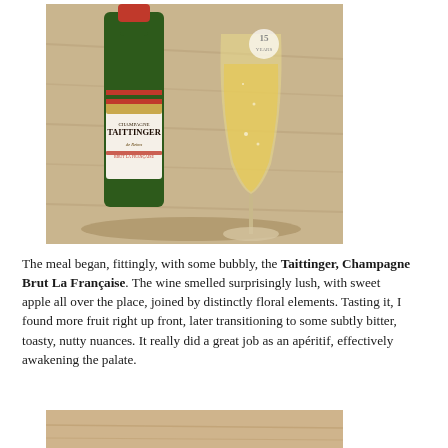[Figure (photo): A bottle of Taittinger Champagne Brut La Française next to a champagne flute filled with golden sparkling wine, placed on a wooden table surface.]
The meal began, fittingly, with some bubbly, the Taittinger, Champagne Brut La Française. The wine smelled surprisingly lush, with sweet apple all over the place, joined by distinctly floral elements. Tasting it, I found more fruit right up front, later transitioning to some subtly bitter, toasty, nutty nuances. It really did a great job as an apéritif, effectively awakening the palate.
[Figure (photo): Partial view of a food dish, bottom of page (cropped).]